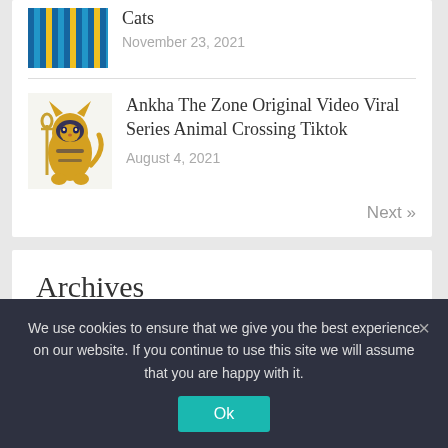[Figure (photo): Thumbnail image with blue and yellow pixel/heatmap pattern for a post about Cats]
Cats
November 23, 2021
[Figure (illustration): Ankha cat character illustration from Animal Crossing, showing a yellow and black Egyptian-themed cat figure]
Ankha The Zone Original Video Viral Series Animal Crossing Tiktok
August 4, 2021
Next »
Archives
March 2022
February 2022
We use cookies to ensure that we give you the best experience on our website. If you continue to use this site we will assume that you are happy with it.
Ok